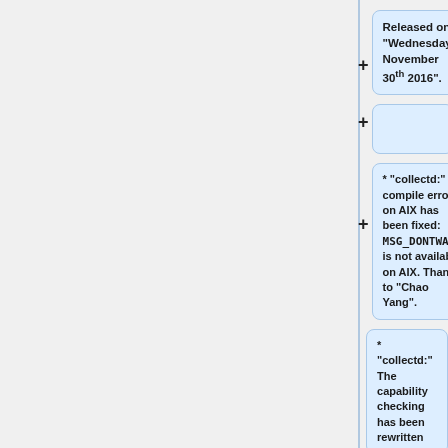Released on "Wednesday, November 30<sup>th</sup> 2016".
* "collectd:" A compile error on AIX has been fixed: <code>MSG_DONTWAIT</code> is not available on AIX. Thanks to "Chao Yang".
* "collectd:" The capability checking has been rewritten